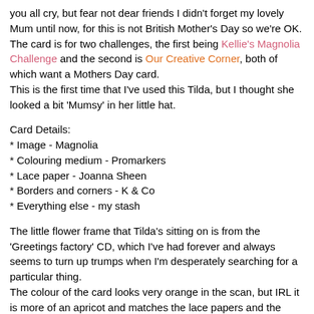you all cry, but fear not dear friends I didn't forget my lovely Mum until now, for this is not British Mother's Day so we're OK.
The card is for two challenges, the first being Kellie's Magnolia Challenge and the second is Our Creative Corner, both of which want a Mothers Day card.
This is the first time that I've used this Tilda, but I thought she looked a bit 'Mumsy' in her little hat.
Card Details:
* Image - Magnolia
* Colouring medium - Promarkers
* Lace paper - Joanna Sheen
* Borders and corners - K & Co
* Everything else - my stash
The little flower frame that Tilda's sitting on is from the 'Greetings factory' CD, which I've had forever and always seems to turn up trumps when I'm desperately searching for a particular thing.
The colour of the card looks very orange in the scan, but IRL it is more of an apricot and matches the lace papers and the